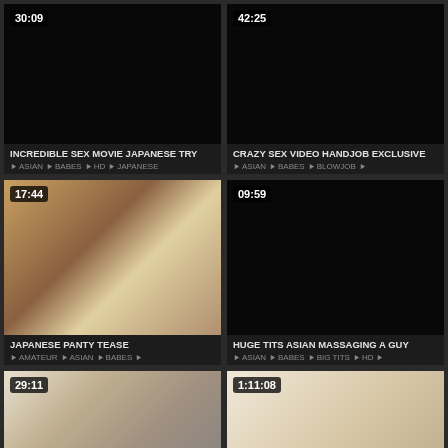[Figure (screenshot): Video thumbnail - dark/black with duration 30:09, title INCREDIBLE SEX MOVIE JAPANESE TRY, tags ASIAN BABES HD JAPANESE]
[Figure (screenshot): Video thumbnail - dark/black with duration 42:25, title CRAZY SEX VIDEO HANDJOB EXCLUSIVE, tags ASIAN BABES BLOWJOB]
[Figure (screenshot): Video thumbnail - Japanese panty tease scene with duration 17:44, title JAPANESE PANTY TEASE, tags AMATEUR ASIAN BABES]
[Figure (screenshot): Video thumbnail - dark/black with duration 09:59, title HUGE TITS ASIAN MASSAGING A GUY, tags ASIAN BABES BIG TITS HD]
[Figure (screenshot): Video thumbnail - bed scene with duration 29:11]
[Figure (screenshot): Video thumbnail - bed scene with duration 1:11:08]